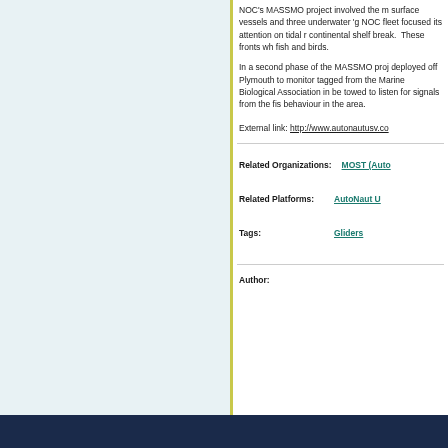NOC's MASSMO project involved the m surface vessels and three underwater 'g NOC fleet focused its attention on tidal r continental shelf break.  These fronts wh fish and birds.
In a second phase of the MASSMO proj deployed off Plymouth to monitor tagged from the Marine Biological Association in be towed to listen for signals from the fis behaviour in the area.
External link: http://www.autonautusv.co
Related Organizations: MOST (Auto
Related Platforms: AutoNaut U
Tags: Gliders
Author: